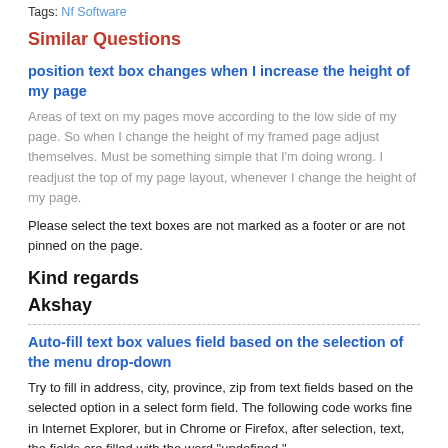Tags: Nf Software
Similar Questions
position text box changes when I increase the height of my page
Areas of text on my pages move according to the low side of my page. So when I change the height of my framed page adjust themselves. Must be something simple that I'm doing wrong. I readjust the top of my page layout, whenever I change the height of my page.
Please select the text boxes are not marked as a footer or are not pinned on the page.
Kind regards
Akshay
Auto-fill text box values field based on the selection of the menu drop-down
Try to fill in address, city, province, zip from text fields based on the selected option in a select form field. The following code works fine in Internet Explorer, but in Chrome or Firefox, after selection, text, the fields are filled with the word "undefined."
I found a PHP script Jquery here version that would probabably do the trick.
http://StackOverflow.com/questions/96571375Query-populate-text...